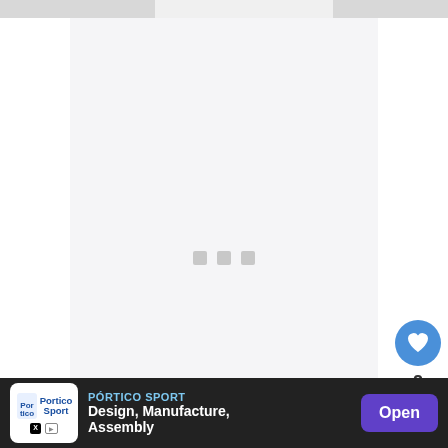[Figure (screenshot): Loading image placeholder with three gray squares in the center on a light gray background]
Another striking feature of the watch is the storm alarm system. The change in barometric pressure is instantly intercepted by the watch and you will
[Figure (infographic): WHAT'S NEXT → Garmin Forerunner... overlay widget with watch image]
[Figure (infographic): Pórtico Sport advertisement banner: Design, Manufacture, Assembly — Open button]